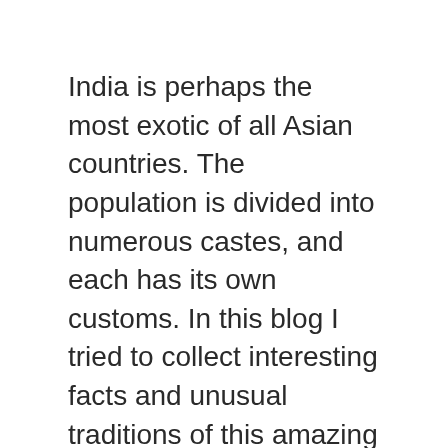India is perhaps the most exotic of all Asian countries. The population is divided into numerous castes, and each has its own customs. In this blog I tried to collect interesting facts and unusual traditions of this amazing country.
About us
Contact
Privacy Policy & Cookies
ATTENTION TO RIGHT HOLDERS! All materials are posted on the site strictly for